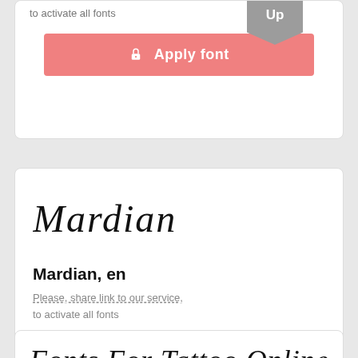to activate all fonts
[Figure (other): Up badge/ribbon in gray]
[Figure (other): Apply font button (salmon/pink) with lock icon]
[Figure (illustration): Mardian font name rendered in cursive/script style]
Mardian, en
Please, share link to our service, to activate all fonts
[Figure (other): Apply font button (salmon/pink) with lock icon]
[Figure (illustration): Fonts For Tattoo Online text rendered in script/cursive font at bottom]